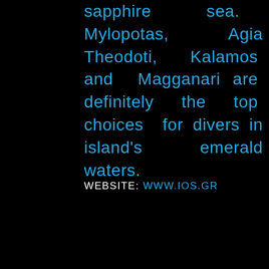sapphire sea. Mylopotas, Agia Theodoti, Kalamos and Magganari are definitely the top choices for divers in island's emerald waters.
WEBSITE: WWW.IOS.GR